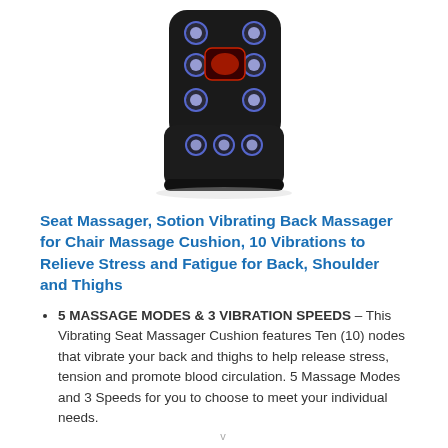[Figure (photo): Product photo of a black seat massager cushion with multiple vibrating nodes visible in blue/purple and red lighting, shown unfolded on white background.]
Seat Massager, Sotion Vibrating Back Massager for Chair Massage Cushion, 10 Vibrations to Relieve Stress and Fatigue for Back, Shoulder and Thighs
5 MASSAGE MODES & 3 VIBRATION SPEEDS – This Vibrating Seat Massager Cushion features Ten (10) nodes that vibrate your back and thighs to help release stress, tension and promote blood circulation. 5 Massage Modes and 3 Speeds for you to choose to meet your individual needs.
v